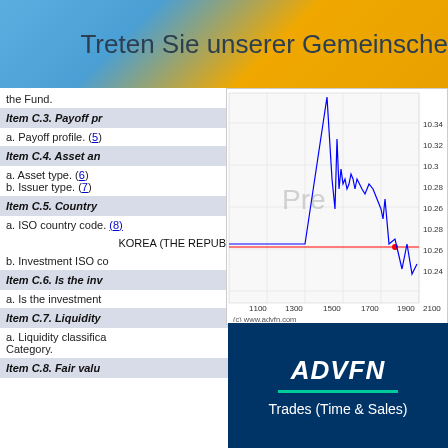[Figure (screenshot): Top banner with gradient background (blue to gold) and German text 'Treten Sie unserer Gemeinsche...']
the Fund.
Item C.3. Payoff pr
a. Payoff profile. (5)
Item C.4. Asset an
a. Asset type. (6)
b. Issuer type. (7)
Item C.5. Country
[Figure (continuous-plot): Stock price chart showing price movement between approximately 10.24 and 10.34, x-axis from 1100 to 2100. Blue line shows price, red horizontal line near 10.26. Watermark 'Pre' visible. Source: (c) www.advfn.com]
a. ISO country code. (8)
KOREA (THE REPUB...
b. Investment ISO co
[Figure (screenshot): ADVFN logo with 'Trades (Time & Sales)' text on dark blue background]
Item C.6. Is the inv
a. Is the investment
Item C.7. Liquidity
a. Liquidity classifica
Category.
Item C.8. Fair valu
| Num | Exch. | Price | Size | Type | C | T | Bid | Offer | Tim |
| --- | --- | --- | --- | --- | --- | --- | --- | --- | --- |
| 13875 | nyse | 70.0658 | 6 | basket stx |  |  | 70.06 | 70.07 | 15:43:5 |
| 13874 | nyse | 70.07 | 100 |  |  |  | 70.07 | 70.07 | 15:43:5 |
| 13873 | nyse | 70.07 | 100 |  |  |  | 70.07 | 70.07 | 15:43:5 |
| 13872 | nyse | 70.07 | 100 |  |  |  | 70.07 | 70.07 | 15:43:5 |